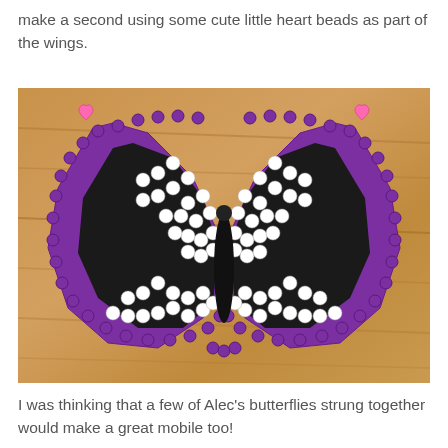make a second using some cute little heart beads as part of the wings.
[Figure (photo): A perler bead butterfly craft made with purple border beads, white and black bead pattern forming wings, with small pink heart beads at the top corners, displayed on a wooden surface.]
I was thinking that a few of Alec's butterflies strung together would make a great mobile too!